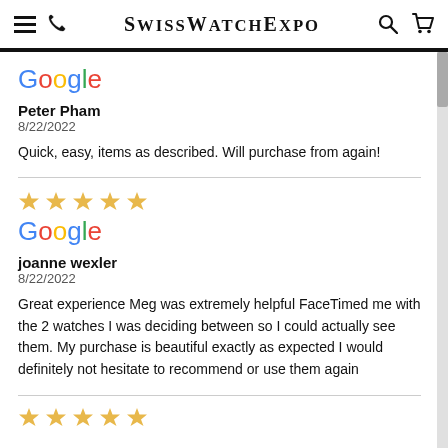SwissWatchExpo
[Figure (logo): Google logo]
Peter Pham
8/22/2022
Quick, easy, items as described. Will purchase from again!
[Figure (other): 5 gold stars rating]
[Figure (logo): Google logo]
joanne wexler
8/22/2022
Great experience Meg was extremely helpful FaceTimed me with the 2 watches I was deciding between so I could actually see them. My purchase is beautiful exactly as expected I would definitely not hesitate to recommend or use them again
[Figure (other): 5 gold stars rating (partial view)]